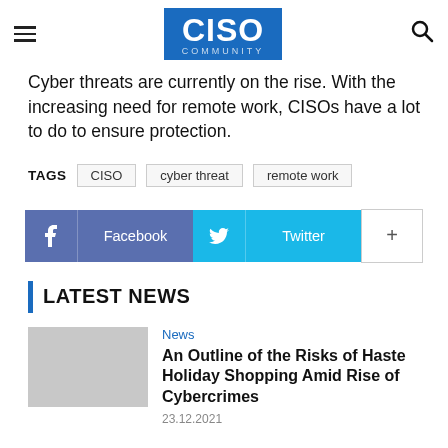CISO COMMUNITY
Cyber threats are currently on the rise. With the increasing need for remote work, CISOs have a lot to do to ensure protection.
TAGS: CISO  cyber threat  remote work
[Figure (other): Social sharing buttons: Facebook, Twitter, and a plus button]
LATEST NEWS
News
An Outline of the Risks of Haste Holiday Shopping Amid Rise of Cybercrimes
23.12.2021